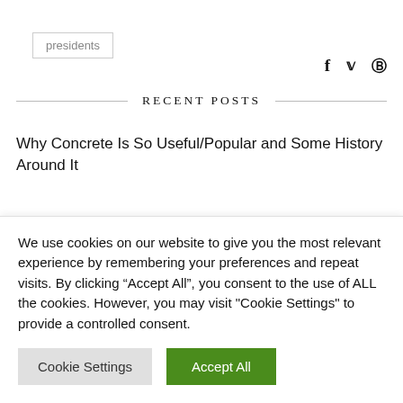presidents
[Figure (other): Social media icons: Facebook (f), Twitter (bird), Pinterest (p)]
RECENT POSTS
Why Concrete Is So Useful/Popular and Some History Around It
The Benefits of Hiring a Professional Carpenter
We use cookies on our website to give you the most relevant experience by remembering your preferences and repeat visits. By clicking “Accept All”, you consent to the use of ALL the cookies. However, you may visit "Cookie Settings" to provide a controlled consent.